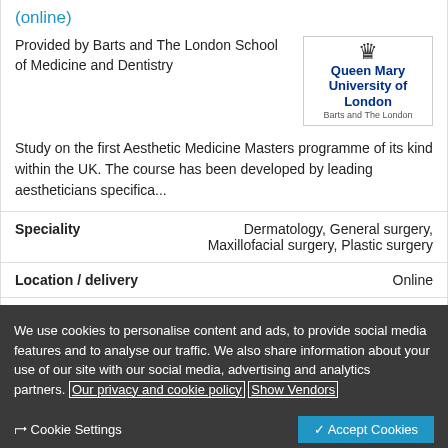(online)
Provided by Barts and The London School of Medicine and Dentistry
[Figure (logo): Queen Mary University of London, Barts and The London logo with crown symbol]
Study on the first Aesthetic Medicine Masters programme of its kind within the UK. The course has been developed by leading aestheticians specifica...
| Field | Value |
| --- | --- |
| Speciality | Dermatology, General surgery, Maxillofacial surgery, Plastic surgery |
| Location / delivery | Online |
| Start date | 19 Sep 2022 |
We use cookies to personalise content and ads, to provide social media features and to analyse our traffic. We also share information about your use of our site with our social media, advertising and analytics partners. Our privacy and cookie policy Show Vendors
Cookie Settings
Accept Cookies